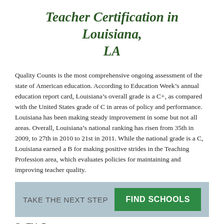Teacher Certification in Louisiana, LA
Quality Counts is the most comprehensive ongoing assessment of the state of American education. According to Education Week’s annual education report card, Louisiana’s overall grade is a C+, as compared with the United States grade of C in areas of policy and performance. Louisiana has been making steady improvement in some but not all areas. Overall, Louisiana’s national ranking has risen from 35th in 2009, to 27th in 2010 to 21st in 2011. While the national grade is a C, Louisiana earned a B for making positive strides in the Teaching Profession area, which evaluates policies for maintaining and improving teacher quality.
[Figure (other): Call-to-action banner with light blue background. Text reads 'TAKE THE NEXT STEP' on left and a green button labeled 'FIND SCHOOLS' on the right.]
On This Page:
Sponsored Content
Standard Teaching Certificate